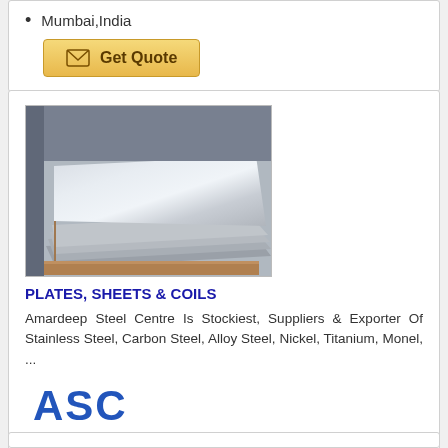Mumbai,India
Get Quote
[Figure (photo): Stacked stainless steel plates/sheets photographed from an angle, showing metallic silver surfaces]
PLATES, SHEETS & COILS
Amardeep Steel Centre Is Stockiest, Suppliers & Exporter Of Stainless Steel, Carbon Steel, Alloy Steel, Nickel, Titanium, Monel, ...
[Figure (logo): ASC logo in blue text with underline]
Mumbai,India
Get Quote